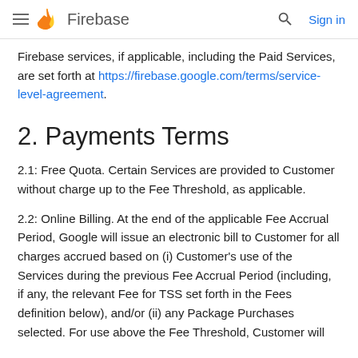Firebase
Firebase services, if applicable, including the Paid Services, are set forth at https://firebase.google.com/terms/service-level-agreement.
2. Payments Terms
2.1: Free Quota. Certain Services are provided to Customer without charge up to the Fee Threshold, as applicable.
2.2: Online Billing. At the end of the applicable Fee Accrual Period, Google will issue an electronic bill to Customer for all charges accrued based on (i) Customer's use of the Services during the previous Fee Accrual Period (including, if any, the relevant Fee for TSS set forth in the Fees definition below), and/or (ii) any Package Purchases selected. For use above the Fee Threshold, Customer will